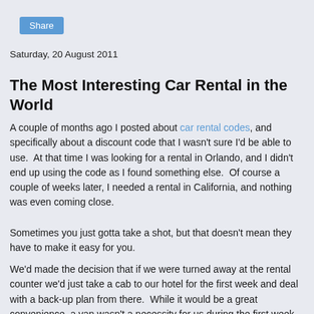[Figure (other): Share button — blue rounded rectangle with white 'Share' text]
Saturday, 20 August 2011
The Most Interesting Car Rental in the World
A couple of months ago I posted about car rental codes, and specifically about a discount code that I wasn't sure I'd be able to use.  At that time I was looking for a rental in Orlando, and I didn't end up using the code as I found something else.  Of course a couple of weeks later, I needed a rental in California, and nothing was even coming close.
Sometimes you just gotta take a shot, but that doesn't mean they have to make it easy for you.
We'd made the decision that if we were turned away at the rental counter we'd just take a cab to our hotel for the first week and deal with a back-up plan from there.  While it would be a great convenience, a van wasn't a necessity for us during the first week.